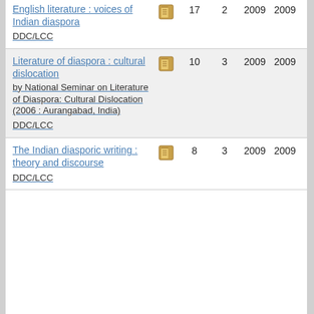| Title | Icon | Count1 | Count2 | Year1 | Year2 |
| --- | --- | --- | --- | --- | --- |
| English literature : voices of Indian diaspora | [book icon] | 17 | 2 | 2009 | 2009 |
| Literature of diaspora : cultural dislocation / by National Seminar on Literature of Diaspora: Cultural Dislocation (2006 : Aurangabad, India) DDC/LCC | [book icon] | 10 | 3 | 2009 | 2009 |
| The Indian diasporic writing : theory and discourse | [book icon] | 8 | 3 | 2009 | 2009 |